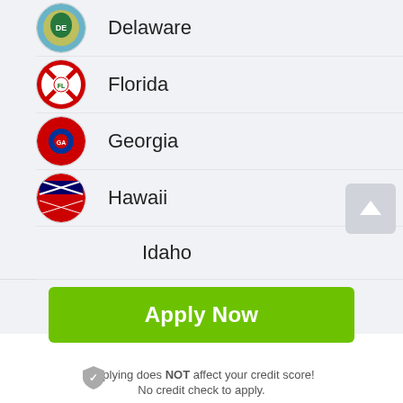Delaware
Florida
Georgia
Hawaii
Idaho
Illinois
Indiana
Apply Now
Applying does NOT affect your credit score! No credit check to apply.